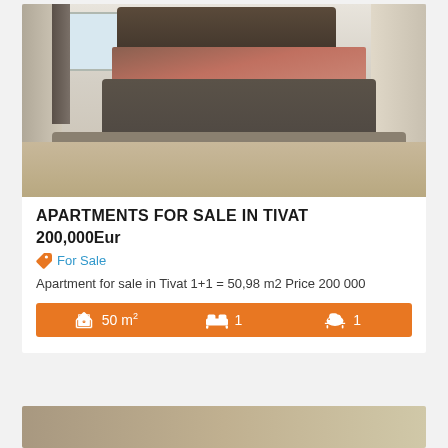[Figure (photo): Interior bedroom photo showing a luxury bedroom with a large bed, grey headboard with vertical upholstered panels, salmon/rust colored bedding, bench at foot of bed, grey shaggy rug, and white wardrobe closets.]
APARTMENTS FOR SALE IN TIVAT
200,000Eur
For Sale
Apartment for sale in Tivat 1+1 = 50,98 m2 Price 200 000
50 m² 1 1
[Figure (photo): Partial view of a second property listing image at the bottom of the page.]